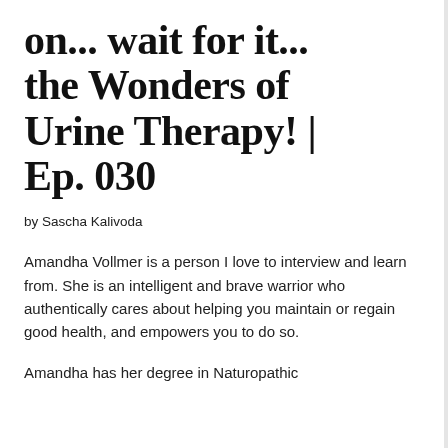on... wait for it... the Wonders of Urine Therapy! | Ep. 030
by Sascha Kalivoda
Amandha Vollmer is a person I love to interview and learn from. She is an intelligent and brave warrior who authentically cares about helping you maintain or regain good health, and empowers you to do so.
Amandha has her degree in Naturopathic